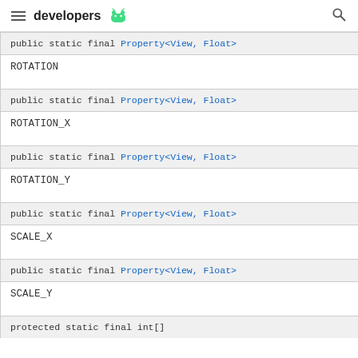developers (android logo)
| public static final Property<View, Float> | ROTATION |
| public static final Property<View, Float> | ROTATION_X |
| public static final Property<View, Float> | ROTATION_Y |
| public static final Property<View, Float> | SCALE_X |
| public static final Property<View, Float> | SCALE_Y |
| protected static final int[] |  |